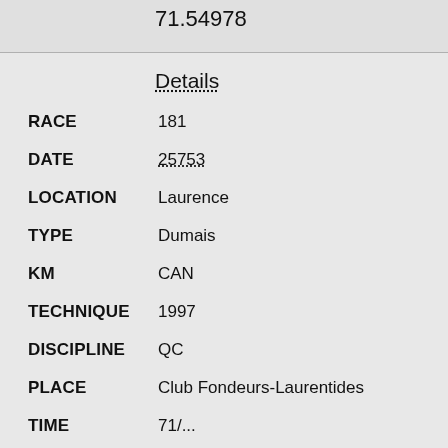71.54978
Details
RACE  181
DATE  25753
LOCATION  Laurence
TYPE  Dumais
KM  CAN
TECHNIQUE  1997
DISCIPLINE  QC
PLACE  Club Fondeurs-Laurentides
TIME  71/...